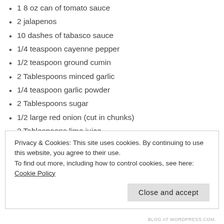1 8 oz can of tomato sauce
2 jalapenos
10 dashes of tabasco sauce
1/4 teaspoon cayenne pepper
1/2 teaspoon ground cumin
2 Tablespoons minced garlic
1/4 teaspoon garlic powder
2 Tablespoons sugar
1/2 large red onion (cut in chunks)
2 Tablespoons lime juice
1/2 teaspoon salt
1/2 tsp black pepper (I used freshly ground)
Privacy & Cookies: This site uses cookies. By continuing to use this website, you agree to their use.
To find out more, including how to control cookies, see here: Cookie Policy
BLOG AT WORDPRESS.COM.